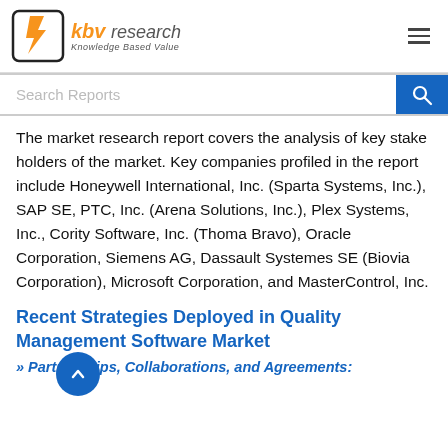KBV Research — Knowledge Based Value
The market research report covers the analysis of key stake holders of the market. Key companies profiled in the report include Honeywell International, Inc. (Sparta Systems, Inc.), SAP SE, PTC, Inc. (Arena Solutions, Inc.), Plex Systems, Inc., Cority Software, Inc. (Thoma Bravo), Oracle Corporation, Siemens AG, Dassault Systemes SE (Biovia Corporation), Microsoft Corporation, and MasterControl, Inc.
Recent Strategies Deployed in Quality Management Software Market
» Partnerships, Collaborations, and Agreements: